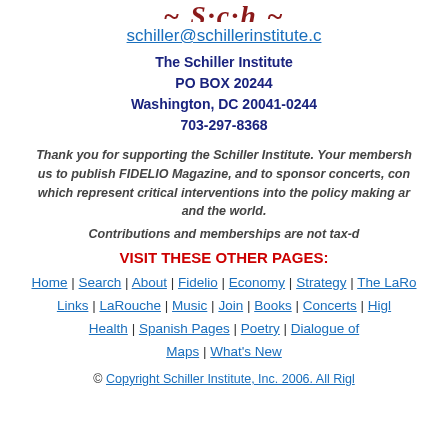[Figure (logo): Schiller Institute logo/script mark, partially visible at top]
schiller@schillerinstitute.c
The Schiller Institute
PO BOX 20244
Washington, DC 20041-0244
703-297-8368
Thank you for supporting the Schiller Institute. Your membership enables us to publish FIDELIO Magazine, and to sponsor concerts, con[ferences], which represent critical interventions into the policy making ar[ena in America] and the world.
Contributions and memberships are not tax-d[eductible].
VISIT THESE OTHER PAGES:
Home | Search | About | Fidelio | Economy | Strategy | The LaRo[uche] Links | LaRouche | Music | Join | Books | Concerts | Hig[hlights] Health | Spanish Pages | Poetry | Dialogue of [Cultures] Maps | What's New
© Copyright Schiller Institute, Inc. 2006. All Rig[hts Reserved]